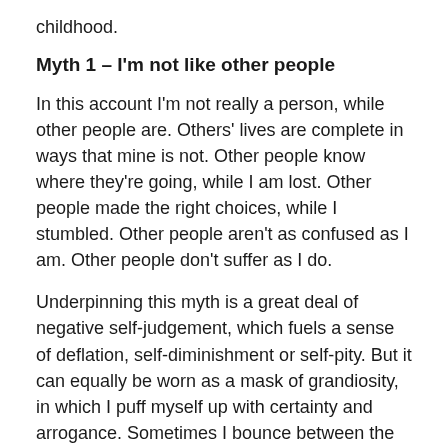childhood.
Myth 1 – I'm not like other people
In this account I'm not really a person, while other people are. Others' lives are complete in ways that mine is not. Other people know where they're going, while I am lost. Other people made the right choices, while I stumbled. Other people aren't as confused as I am. Other people don't suffer as I do.
Underpinning this myth is a great deal of negative self-judgement, which fuels a sense of deflation, self-diminishment or self-pity. But it can equally be worn as a mask of grandiosity, in which I puff myself up with certainty and arrogance. Sometimes I bounce between the two poles, from deflation to grandiosity and back